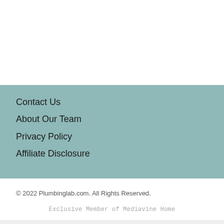Contact Us
About Our Team
Privacy Policy
Affiliate Disclosure
© 2022 Plumbinglab.com. All Rights Reserved.
Exclusive Member of Mediavine Home
[Figure (other): Advertisement banner: cookies for kids cancer - turn your cookies into a CURE LEARN HOW]